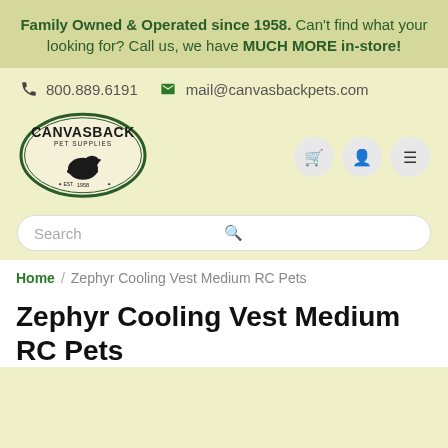Family Owned & Operated since 1958. Can't find what your looking for? Call us, we have MUCH MORE in-store!
800.889.6191   mail@canvasbackpets.com
[Figure (logo): Canvasback Pet Supplies oval logo with duck silhouette, EST. 1958]
Search
Home / Zephyr Cooling Vest Medium RC Pets
Zephyr Cooling Vest Medium RC Pets